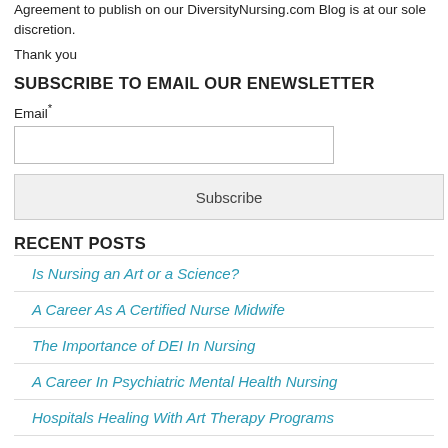Agreement to publish on our DiversityNursing.com Blog is at our sole discretion.
Thank you
SUBSCRIBE TO EMAIL OUR ENEWSLETTER
Email*
Subscribe
RECENT POSTS
Is Nursing an Art or a Science?
A Career As A Certified Nurse Midwife
The Importance of DEI In Nursing
A Career In Psychiatric Mental Health Nursing
Hospitals Healing With Art Therapy Programs
Robot (Maxi) Assists Nurses With Time-Consuming Tasks